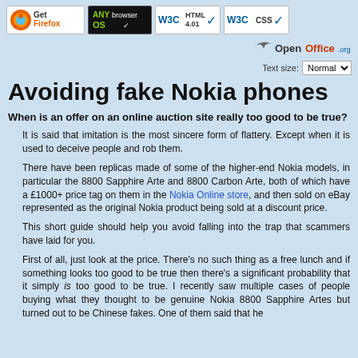[Figure (logo): Row of web badges: Get Firefox, AnyBrowser/AnyOS, W3C HTML 4.01, W3C CSS]
[Figure (logo): OpenOffice.org logo with bird graphic]
Text size: Normal
Avoiding fake Nokia phones
When is an offer on an online auction site really too good to be true?
It is said that imitation is the most sincere form of flattery. Except when it is used to deceive people and rob them.
There have been replicas made of some of the higher-end Nokia models, in particular the 8800 Sapphire Arte and 8800 Carbon Arte, both of which have a £1000+ price tag on them in the Nokia Online store, and then sold on eBay represented as the original Nokia product being sold at a discount price.
This short guide should help you avoid falling into the trap that scammers have laid for you.
First of all, just look at the price. There's no such thing as a free lunch and if something looks too good to be true then there's a significant probability that it simply is too good to be true. I recently saw multiple cases of people buying what they thought to be genuine Nokia 8800 Sapphire Artes but turned out to be Chinese fakes. One of them said that he